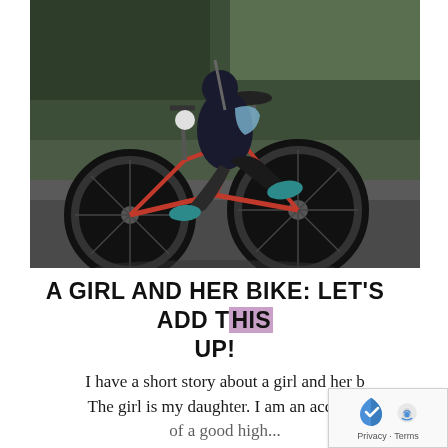[Figure (photo): A person riding a red and black mountain bike on a paved path outdoors. The rider is wearing dark clothing, white gloves, and teal/blue sneakers. Trees are visible in the blurred background.]
A GIRL AND HER BIKE: LET'S ADD THIS UP!
I have a short story about a girl and her bike. The girl is my daughter. I am an account...